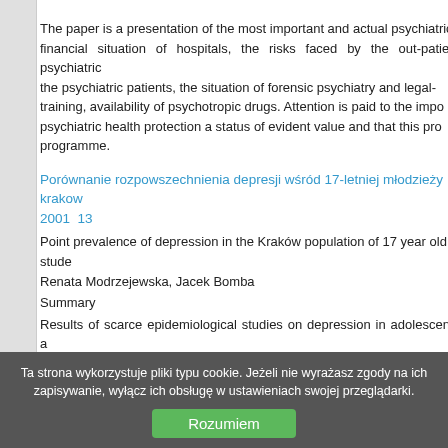The paper is a presentation of the most important and actual psychiatric financial situation of hospitals, the risks faced by the out-patient psychiatric the psychiatric patients, the situation of forensic psychiatry and legal- training, availability of psychotropic drugs. Attention is paid to the impo psychiatric health protection a status of evident value and that this pro programme.
Porównanie rozpowszechnienia depresji wśród 17-letniej młodzieży krakow 2001  13
Point prevalence of depression in the Kraków population of 17 year old stude
Renata Modrzejewska, Jacek Bomba
Summary
Results of scarce epidemiological studies on depression in adolescents a methodology as well as on the theoretical approach of researchers. Tho comparable show that depression prevalence depends on the macrosocial Aim: The study aimed to assess changes in depression prevalence in mid-a A presumption was made that the social situation in Poland had changed in representative sample of school attending 17 y.o. adolescents was screene compared with those of a similar survey, using the same method, carried ou indexes appeared to be similar as well as higher for girls in comparison depression prevalence and the type of the senior school has changed. In appearing for university studies while in 2001 in those which tr
Ta strona wykorzystuje pliki typu cookie. Jeżeli nie wyrażasz zgody na ich zapisywanie, wyłącz ich obsługę w ustawieniach swojej przeglądarki.
Rozumiem